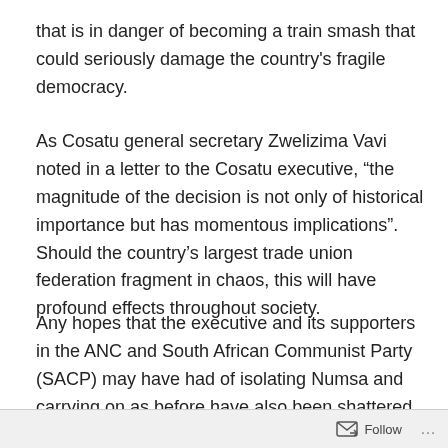that is in danger of becoming a train smash that could seriously damage the country's fragile democracy.
As Cosatu general secretary Zwelizima Vavi noted in a letter to the Cosatu executive, “the magnitude of the decision is not only of historical importance but has momentous implications”. Should the country’s largest trade union federation fragment in chaos, this will have profound effects throughout society.
Any hopes that the executive and its supporters in the ANC and South African Communist Party (SACP) may have had of isolating Numsa and carrying on as before have also been shattered. In the first place, seven of the eight Cosatu affiliates that had originally backed Numsa, reiterated their support at a Press conference, along with a